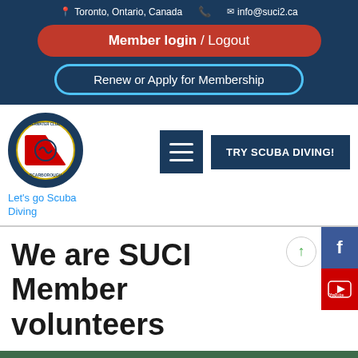Toronto, Ontario, Canada   info@suci2.ca
Member login / Logout
Renew or Apply for Membership
[Figure (logo): SUCI Scarborough Underwater Club Inc. circular logo with scuba diver flag design]
Let's go Scuba Diving
TRY SCUBA DIVING!
We are SUCI Member volunteers